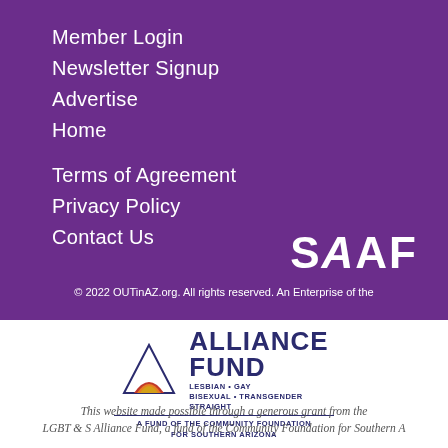Member Login
Newsletter Signup
Advertise
Home
Terms of Agreement
Privacy Policy
Contact Us
[Figure (logo): SAAF logo in white text on purple background]
© 2022 OUTinAZ.org. All rights reserved. An Enterprise of the
[Figure (logo): Alliance Fund - Lesbian Gay Bisexual Transgender Straight - A Fund of the Community Foundation for Southern Arizona logo]
This website made possible through a generous grant from the LGBT & S Alliance Fund, a fund of the Community Foundation for Southern A